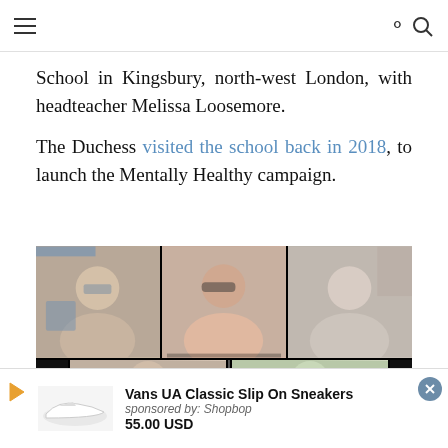[hamburger menu icon] [search icon]
School in Kingsbury, north-west London, with headteacher Melissa Loosemore.
The Duchess visited the school back in 2018, to launch the Mentally Healthy campaign.
[Figure (photo): Video call screenshot showing six people in a grid layout — three in the top row (a woman with white hair and blue glasses, a woman with dark hair and pink top, a woman with brown hair and grey top smiling) and three partially visible in the bottom row.]
Privacy & Cookies: This site uses cookies. By continuing to use this website, you agree to their use.
To find out more, including how to control cookies, see here: Cookie
Vans UA Classic Slip On Sneakers
sponsored by: Shopbop
55.00 USD